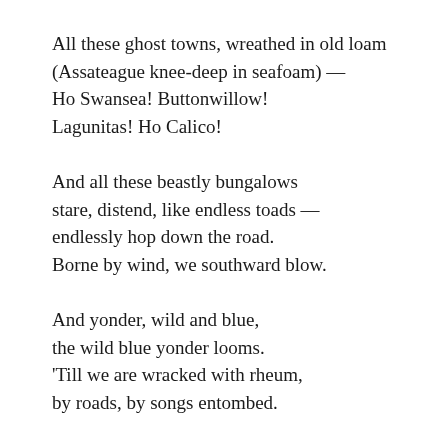All these ghost towns, wreathed in old loam
(Assateague knee-deep in seafoam) —
Ho Swansea! Buttonwillow!
Lagunitas! Ho Calico!
And all these beastly bungalows
stare, distend, like endless toads —
endlessly hop down the road.
Borne by wind, we southward blow.
And yonder, wild and blue,
the wild blue yonder looms.
'Till we are wracked with rheum,
by roads, by songs entombed.
And all we want to do
is chew, and chew, and chew!
Dear one, drive on,